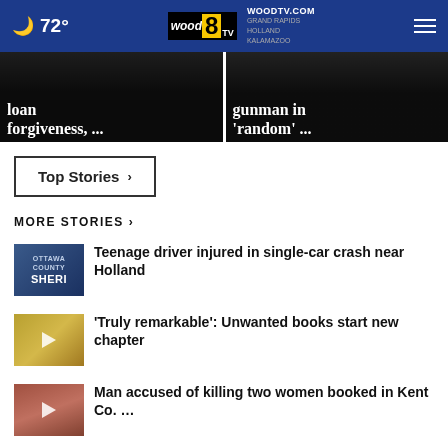72° WOODTV.COM wood8 GRAND RAPIDS HOLLAND KALAMAZOO
[Figure (screenshot): Two hero news images side by side: left shows text 'loan forgiveness, ...' overlaid on dark image; right shows text 'gunman in random...' overlaid on dark image]
Top Stories ›
MORE STORIES ›
Teenage driver injured in single-car crash near Holland
'Truly remarkable': Unwanted books start new chapter
Man accused of killing two women booked in Kent Co. …